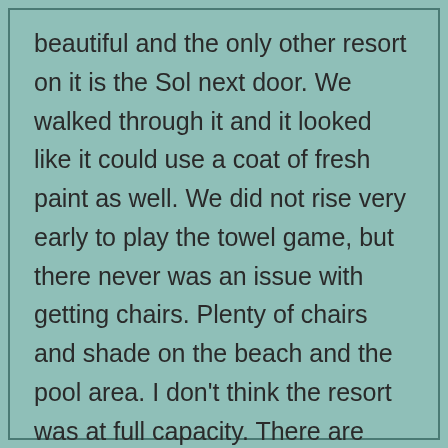beautiful and the only other resort on it is the Sol next door. We walked through it and it looked like it could use a coat of fresh paint as well. We did not rise very early to play the towel game, but there never was an issue with getting chairs. Plenty of chairs and shade on the beach and the pool area. I don't think the resort was at full capacity. There are attendants on the beach who clean off your lounger which is a very nice touch. We spent time at both the pool and the beach. One of the best views of the resort is when you're in the pool just floating around. The grounds are superb! The